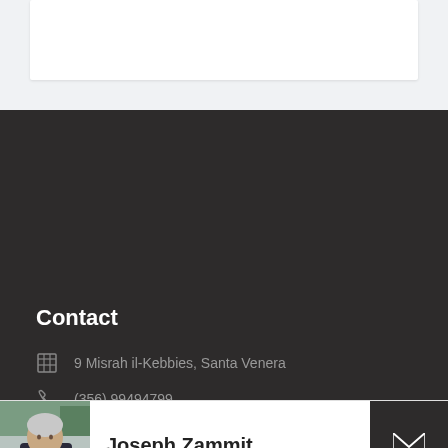[Figure (screenshot): White card element on light gray background at the top of the page]
Contact
9 Misrah il-Kebbies, Santa Venera
(356) 99494799
[Figure (photo): Photo of Joseph Zammit, a man in a dark jacket]
Joseph Zammit